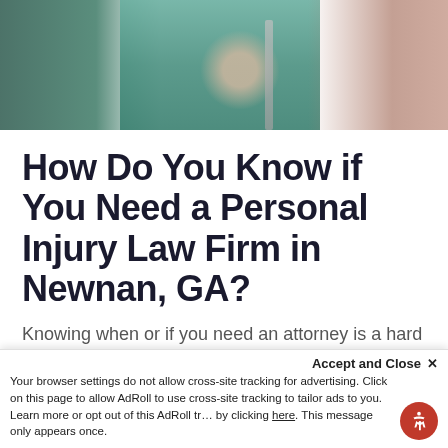[Figure (photo): Blurred photo of people, one appears to be using a crutch or walking aid; medical/injury context]
How Do You Know if You Need a Personal Injury Law Firm in Newnan, GA?
Knowing when or if you need an attorney is a hard decision.
After all, there are many factors involved, and you
Accept and Close ✕
Your browser settings do not allow cross-site tracking for advertising. Click on this page to allow AdRoll to use cross-site tracking to tailor ads to you. Learn more or opt out of this AdRoll tracking by clicking here. This message only appears once.